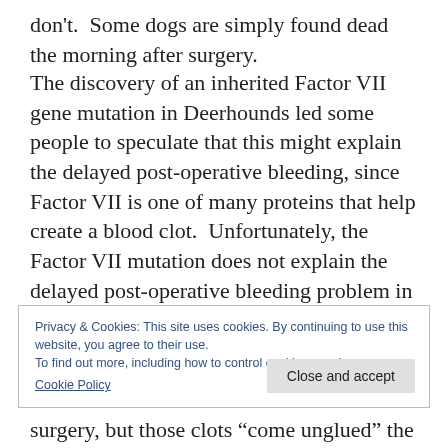don't.  Some dogs are simply found dead the morning after surgery.
The discovery of an inherited Factor VII gene mutation in Deerhounds led some people to speculate that this might explain the delayed post-operative bleeding, since Factor VII is one of many proteins that help create a blood clot.  Unfortunately, the Factor VII mutation does not explain the delayed post-operative bleeding problem in Deerhounds.  Delayed post-operative bleeding has occurred in dogs with two normal Factor VII genes.
Privacy & Cookies: This site uses cookies. By continuing to use this website, you agree to their use.
To find out more, including how to control cookies, see here:
Cookie Policy
[Close and accept]
surgery, but those clots “come unglued” the